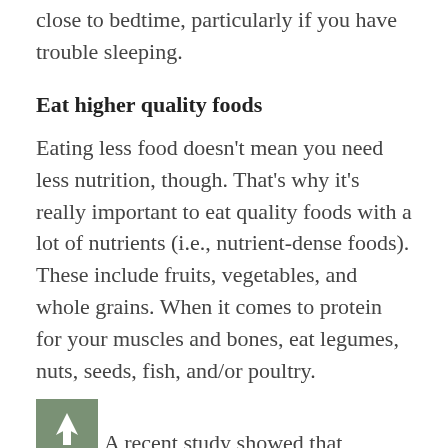close to bedtime, particularly if you have trouble sleeping.
Eat higher quality foods
Eating less food doesn't mean you need less nutrition, though. That's why it's really important to eat quality foods with a lot of nutrients (i.e., nutrient-dense foods). These include fruits, vegetables, and whole grains. When it comes to protein for your muscles and bones, eat legumes, nuts, seeds, fish, and/or poultry.
A recent study showed that